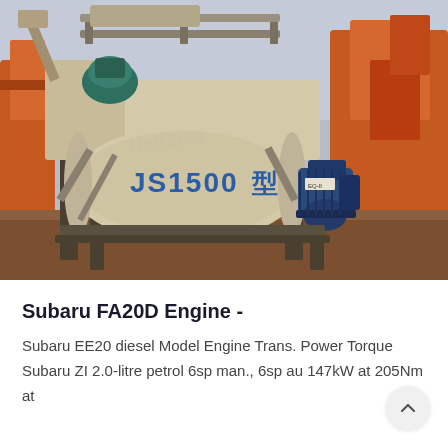[Figure (photo): JS1500型 industrial concrete mixer machine with blue electric motors, cream/beige colored body, photographed outdoors with orange heavy equipment in background]
Subaru FA20D Engine -
Subaru EE20 diesel Model Engine Trans. Power Torque Subaru ZI 2.0-litre petrol 6sp man., 6sp au 147kW at 205Nm at